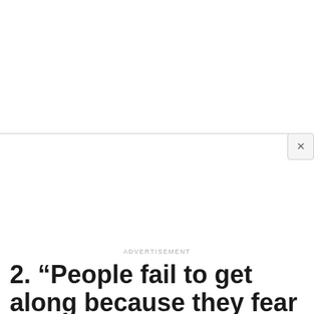[Figure (other): Advertisement banner area with close button (X) in upper right corner]
ADVERTISEMENT
2. “People fail to get along because they fear each other; they fear each other because they don’t know each